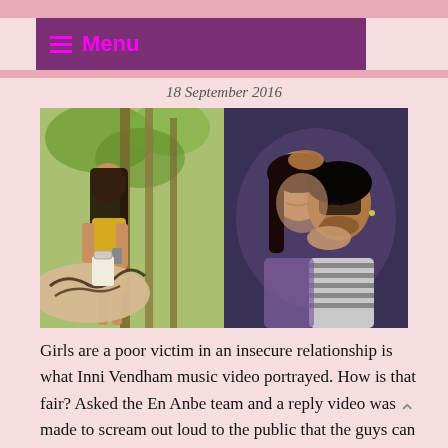Menu
18 September 2016
[Figure (photo): Two side-by-side photos: left shows a girl in a yellow dress outdoors with someone's tattooed arm in the foreground; right shows a couple in a close romantic pose, the man in a striped shirt.]
Girls are a poor victim in an insecure relationship is what Inni Vendham music video portrayed. How is that fair? Asked the En Anbe team and a reply video was made to scream out loud to the public that the guys can be a poor victim in an